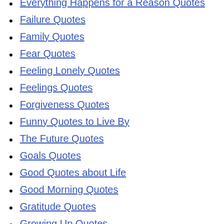Everything Happens for a Reason Quotes
Failure Quotes
Family Quotes
Fear Quotes
Feeling Lonely Quotes
Feelings Quotes
Forgiveness Quotes
Funny Quotes to Live By
The Future Quotes
Goals Quotes
Good Quotes about Life
Good Morning Quotes
Gratitude Quotes
Growing Up Quotes
Happiness Quotes
Happy Quotes